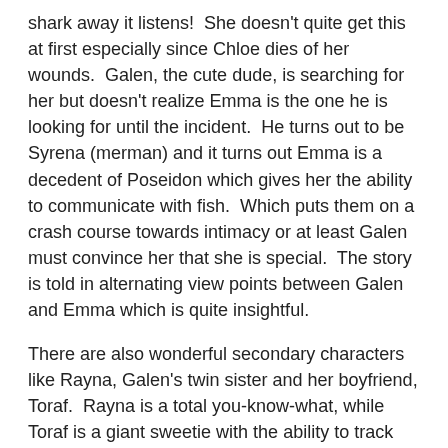shark away it listens!  She doesn't quite get this at first especially since Chloe dies of her wounds.  Galen, the cute dude, is searching for her but doesn't realize Emma is the one he is looking for until the incident.  He turns out to be Syrena (merman) and it turns out Emma is a decedent of Poseidon which gives her the ability to communicate with fish.  Which puts them on a crash course towards intimacy or at least Galen must convince her that she is special.  The story is told in alternating view points between Galen and Emma which is quite insightful.
There are also wonderful secondary characters like Rayna, Galen's twin sister and her boyfriend, Toraf.  Rayna is a total you-know-what, while Toraf is a giant sweetie with the ability to track anything under the sea.  Ok, stop singing the annoying Disney song right now!  And just like in a Disney film, the mothers are nonexistent.  Rayna speaks her mind and doesn't keep anything a secret which is something Galen is way too good at.  He must convince Emma that she is stronger than she thinks and her destiny is something that must